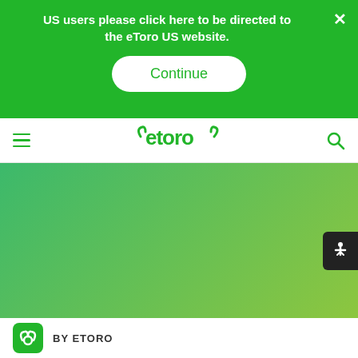US users please click here to be directed to the eToro US website.
Continue
[Figure (logo): eToro logo with bull horns icon in green navigation bar]
[Figure (photo): Green gradient hero banner area]
[Figure (logo): eToro icon logo (green square with bull horns symbol)]
BY ETORO